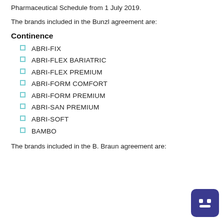Pharmaceutical Schedule from 1 July 2019.
The brands included in the Bunzl agreement are:
Continence
ABRI-FIX
ABRI-FLEX BARIATRIC
ABRI-FLEX PREMIUM
ABRI-FORM COMFORT
ABRI-FORM PREMIUM
ABRI-SAN PREMIUM
ABRI-SOFT
BAMBO
The brands included in the B. Braun agreement are: